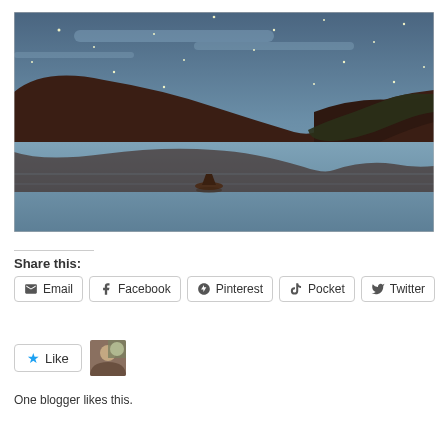[Figure (illustration): A painting of a night landscape with dark rolling hills/landmasses reflected in calm water under a starry blue sky. A small boat with a figure is visible in the middle of the water.]
Share this:
Email
Facebook
Pinterest
Pocket
Twitter
Like
One blogger likes this.